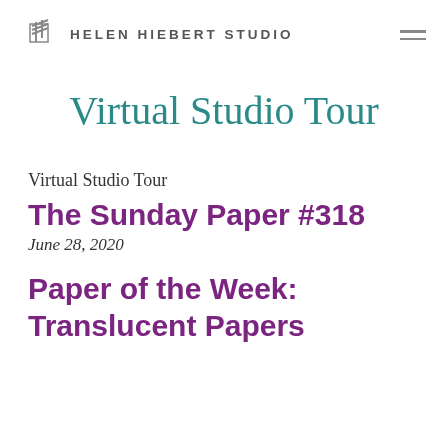HELEN HIEBERT STUDIO
Virtual Studio Tour
Virtual Studio Tour
The Sunday Paper #318
June 28, 2020
Paper of the Week: Translucent Papers